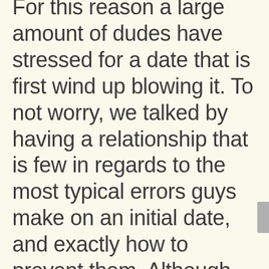For this reason a large amount of dudes have stressed for a date that is first wind up blowing it. To not worry, we talked by having a relationship that is few in regards to the most typical errors guys make on an initial date, and exactly how to prevent them. Although some among these mistakes might appear trivial, but letвЂ™s face it: ItвЂ™s a first date. You donвЂ™t get plenty of leeway to mess things up when thereвЂ™s no